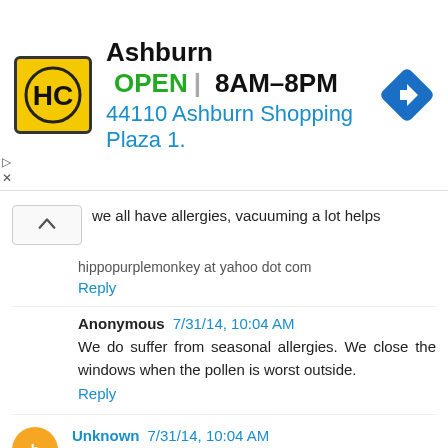[Figure (infographic): Advertisement banner for HC (Home Care or similar) store in Ashburn. Shows logo (HC in black circle on yellow background), store name Ashburn, status OPEN, hours 8AM-8PM, address 44110 Ashburn Shopping Plaza 1., and a blue navigation diamond icon.]
we all have allergies, vacuuming a lot helps
hippopurplemonkey at yahoo dot com
Reply
Anonymous 7/31/14, 10:04 AM
We do suffer from seasonal allergies. We close the windows when the pollen is worst outside.
Reply
Unknown 7/31/14, 10:04 AM
I have allergies. I make her the house is clean and have an air filter